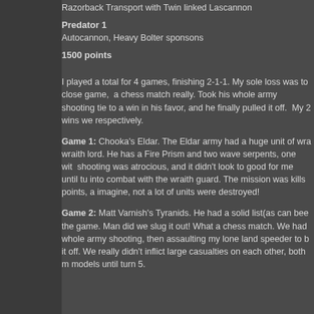Razorback Transport with Twin linked Lascannon
Predator 1
Autocannon, Heavy Bolter sponsons
1500 points
I played a total for 4 games, finishing 2-1-1. My sole loss was to close game,  a chess match really. Took his whole army shooting tie to a win in his favor, and he finally pulled it off.  My 2 wins we respectively.
Game 1: Chooka's Eldar. The Eldar army had a huge unit of wra wraith lord. He has a Fire Prism and two wave serpents, one wit shooting was atrocious, and it didn't look to good for me until tu into combat with the wraith guard. The mission was kills points, a imagine, not a lot of units were destroyed!
Game 2: Matt Varnish's Tyranids. He had a solid list(as can bee the game. Man did we slug it out! What a chess match. We had whole army shooting, then assaulting my lone land speeder to b it off. We really didn't inflict large casualties on each other, both m models until turn 5.